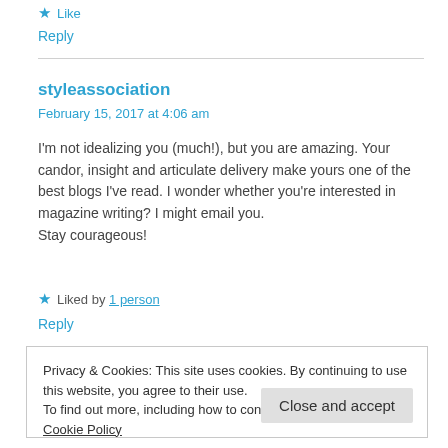★ Like
Reply
styleassociation
February 15, 2017 at 4:06 am
I'm not idealizing you (much!), but you are amazing. Your candor, insight and articulate delivery make yours one of the best blogs I've read. I wonder whether you're interested in magazine writing? I might email you.
Stay courageous!
★ Liked by 1 person
Reply
Privacy & Cookies: This site uses cookies. By continuing to use this website, you agree to their use.
To find out more, including how to control cookies, see here: Cookie Policy
Close and accept